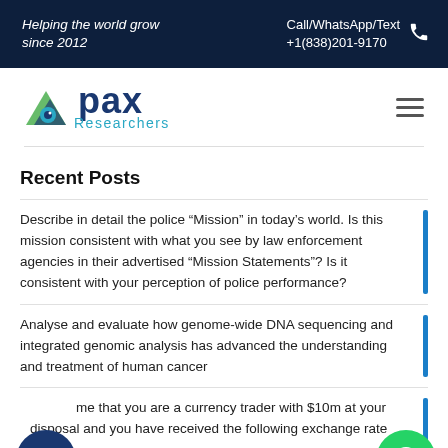Helping the world grow since 2012 | Call/WhatsApp/Text +1(838)201-9170
[Figure (logo): Apax Researchers logo with mountain/eye icon]
Recent Posts
Describe in detail the police “Mission” in today’s world. Is this mission consistent with what you see by law enforcement agencies in their advertised “Mission Statements”? Is it consistent with your perception of police performance?
Analyse and evaluate how genome-wide DNA sequencing and integrated genomic analysis has advanced the understanding and treatment of human cancer
Assume that you are a currency trader with $10m at your disposal and you have received the following exchange rate quotations: Bank A is quoting ¥107-110/$ Bank B is quoting